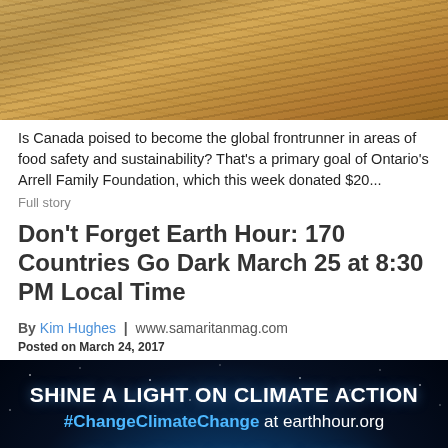[Figure (photo): Aerial or close-up view of plowed agricultural fields with diagonal furrow lines in sandy/golden soil]
Is Canada poised to become the global frontrunner in areas of food safety and sustainability? That's a primary goal of Ontario's Arrell Family Foundation, which this week donated $20...
Full story
Don't Forget Earth Hour: 170 Countries Go Dark March 25 at 8:30 PM Local Time
By Kim Hughes | www.samaritanmag.com
Posted on March 24, 2017
[Figure (photo): Earth Hour promotional banner with dark blue space/earth background, text reading 'SHINE A LIGHT ON CLIMATE ACTION #ChangeClimateChange at earthhour.org 25 MARCH 2017, 8:30PM']